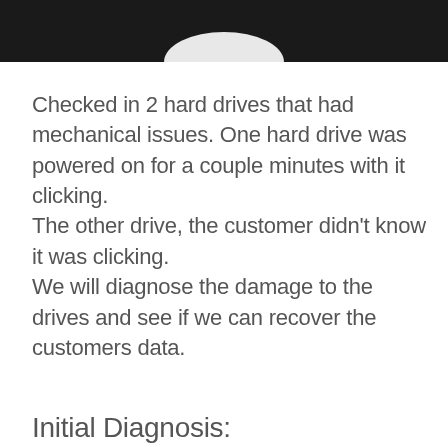[Figure (photo): Dark background photo strip at top of page, showing partial circular object (hard drive) in white/light gray at center bottom of the strip.]
Checked in 2 hard drives that had mechanical issues. One hard drive was powered on for a couple minutes with it clicking.
The other drive, the customer didn't know it was clicking.
We will diagnose the damage to the drives and see if we can recover the customers data.
Initial Diagnosis: